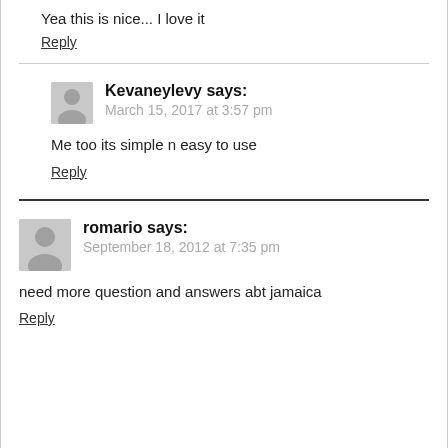Yea this is nice... I love it
Reply
Kevaneylevy says:
March 15, 2017 at 3:57 pm
Me too its simple n easy to use
Reply
romario says:
September 18, 2012 at 7:35 pm
need more question and answers abt jamaica
Reply